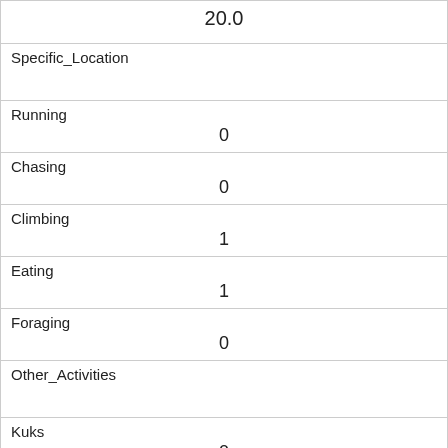| 20.0 |
| Specific_Location |  |
| Running | 0 |
| Chasing | 0 |
| Climbing | 1 |
| Eating | 1 |
| Foraging | 0 |
| Other_Activities |  |
| Kuks | 0 |
| Quaas | 0 |
| Moans | 0 |